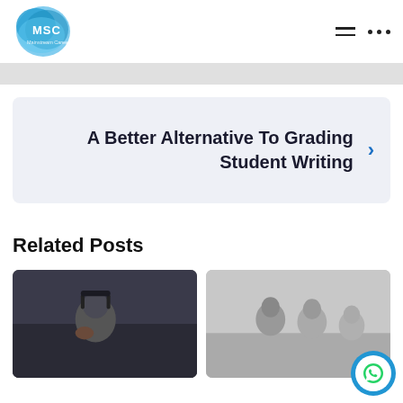[Figure (logo): MSC Mainstream Careers logo — blue cloud/organic shape with MSC text in white]
A Better Alternative To Grading Student Writing
Related Posts
[Figure (photo): Person wearing headphones, thinking, dark background]
[Figure (photo): Group of students or people, light background]